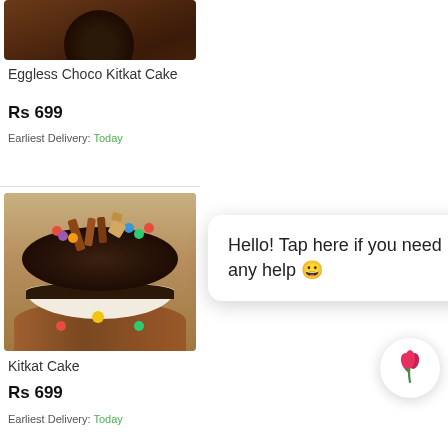[Figure (photo): Partial product card showing Eggless Choco Kitkat Cake with dark chocolate top view image]
Eggless Choco Kitkat Cake
Rs 699
Earliest Delivery: Today
[Figure (photo): Kitkat Cake product photo showing a chocolate drip cake with kitkat sticks and colorful candies on a wooden board]
Kitkat Cake
Rs 699
Earliest Delivery: Today
Hello! Tap here if you need any help 🙂